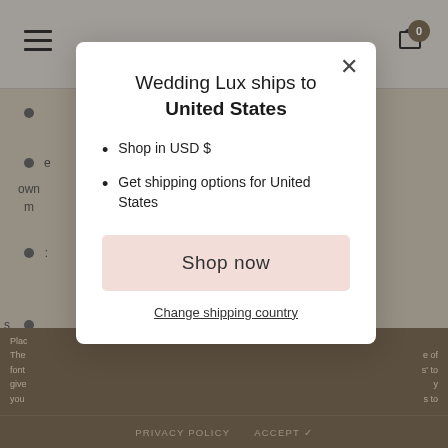[Figure (screenshot): Website screenshot showing a popup modal overlay on a wedding shopping website. The modal reads 'Wedding Lux ships to United States' with bullet points 'Shop in USD $' and 'Get shipping options for United States', a pink 'Shop now' button, and a 'Change shipping country' link. Background shows a navigation bar with hamburger menu and cart icon with badge '0', a tan/brown page background with partially visible list bullets and text, and a brown footer with 'PRIVACY POLICY' and 'ACCEPT ✓' text.]